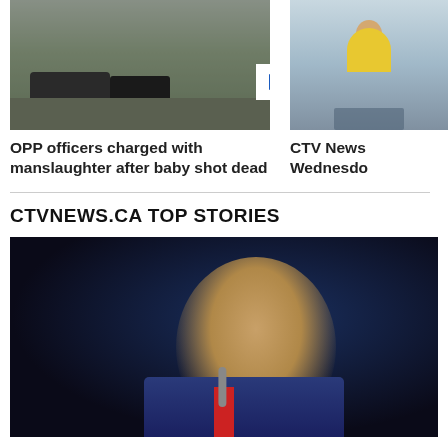[Figure (photo): Outdoor scene with vehicles on a field, police/emergency vehicles visible]
[Figure (photo): News studio with female anchor in yellow top]
OPP officers charged with manslaughter after baby shot dead
CTV News Wednesdo
CTVNEWS.CA TOP STORIES
[Figure (photo): Close-up portrait of a man in a dark blue suit with red tie, speaking at a microphone, dark background]